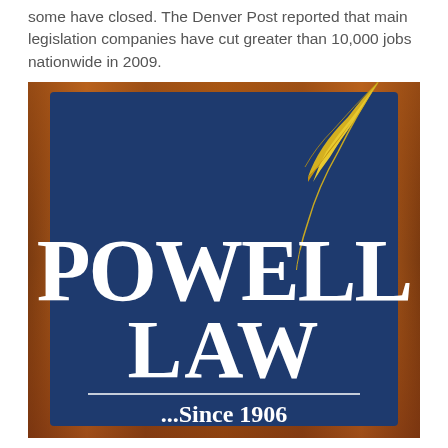some have closed. The Denver Post reported that main legislation companies have cut greater than 10,000 jobs nationwide in 2009.
[Figure (logo): Powell Law logo: dark navy blue square with a gold quill pen in the upper right corner, white serif text reading 'POWELL' on top line and 'LAW' on second line, a horizontal white divider line, and white text reading '...Since 1906' below, all set against a warm brown wooden background frame.]